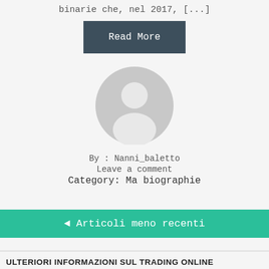binarie che, nel 2017, [...]
Read More
[Figure (illustration): Generic user avatar icon — grey circle with white silhouette of a person]
By : Nanni_baletto
Leave a comment
Category: Ma biographie
◄ Articoli meno recenti
ULTERIORI INFORMAZIONI SUL TRADING ONLINE